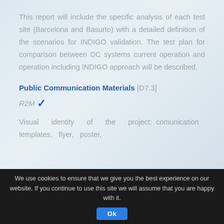This report will include the specific analysis of each test site (Barcelona and Basurto) with a detailed definition of the scenarios for INDIGO validation. The test plan for comparison between DC systems current operation and operation including INDIGO approach will be described.
Public Communication Materials [D7.3]
R2M ✓
Visual identity of the project: comunication templates, flyer, poster,
We use cookies to ensure that we give you the best experience on our website. If you continue to use this site we will assume that you are happy with it.